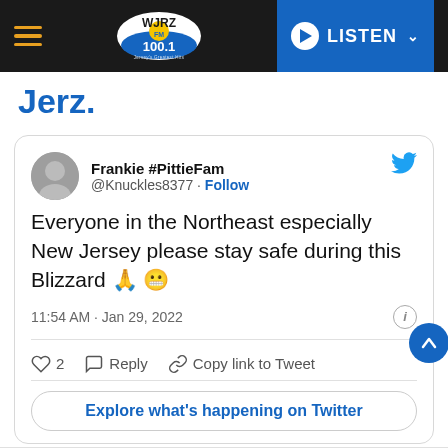WJRZ FM 100.1 — LISTEN
Jerz.
[Figure (screenshot): Embedded tweet from @Knuckles8377 (Frankie #PittieFam): 'Everyone in the Northeast especially New Jersey please stay safe during this Blizzard 🙏 😬' — 11:54 AM · Jan 29, 2022. 2 likes. Reply. Copy link to Tweet. Explore what's happening on Twitter.]